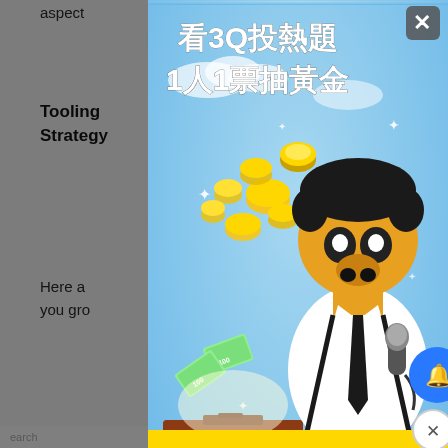aspect
Tooling ... nsion Strategy
Here a... d help you gro...
A... services.
In... fer to e...
E...
F...
B...
Y... annels.
More F...
[Figure (illustration): Taiwanese political advertisement popup showing a cartoon character in a suit holding a microphone next to a vote box with gold coins. Text reads '看3Q投熱題 1人1票抽黃金' (Watch 3Q vote on hot topics, 1 person 1 vote to win gold) and 'NEW TAIWAN' and '3Q新台灣'. There is a close button (X) at top right, a blue bell notification button, and a close (X) circle button at bottom right.]